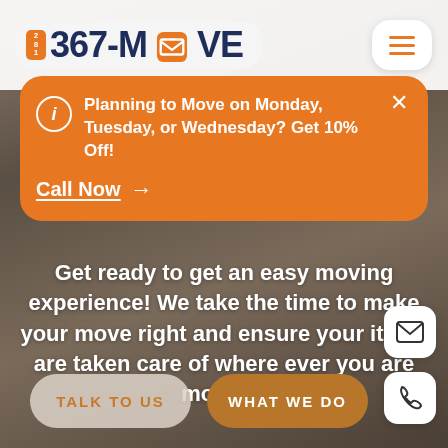[Figure (logo): 281 367-MOVE logo with orange box icon replacing the O]
Planning to Move on Monday, Tuesday, or Wednesday? Get 10% Off!
Call Now →
Get ready to get an easy moving experience! We take the time to make your move right and ensure your items are taken care of where ever you are moving!
TALK TO US
WHAT WE DO